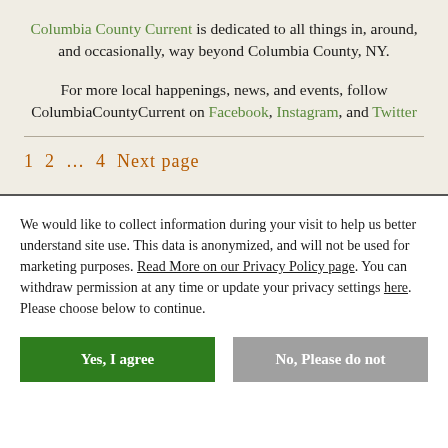Columbia County Current is dedicated to all things in, around, and occasionally, way beyond Columbia County, NY.
For more local happenings, news, and events, follow ColumbiaCountyCurrent on Facebook, Instagram, and Twitter
1  2  ...  4  Next page
We would like to collect information during your visit to help us better understand site use. This data is anonymized, and will not be used for marketing purposes. Read More on our Privacy Policy page. You can withdraw permission at any time or update your privacy settings here. Please choose below to continue.
Yes, I agree
No, Please do not